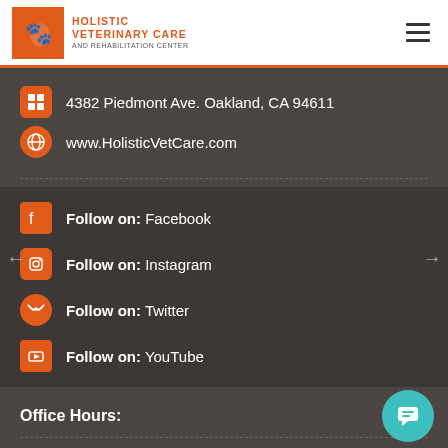Holistic Veterinary Care and Rehabilitation Center
4382 Piedmont Ave. Oakland, CA 94611
www.HolisticVetCare.com
Follow on: Facebook
Follow on: Instagram
Follow on: Twitter
Follow on: YouTube
Office Hours:
Sunday: Office is Closed